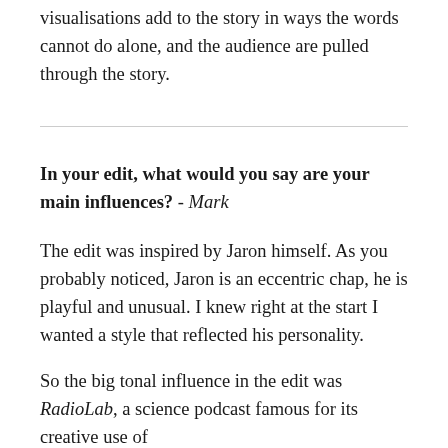visualisations add to the story in ways the words cannot do alone, and the audience are pulled through the story.
In your edit, what would you say are your main influences? - Mark
The edit was inspired by Jaron himself. As you probably noticed, Jaron is an eccentric chap, he is playful and unusual. I knew right at the start I wanted a style that reflected his personality.
So the big tonal influence in the edit was RadioLab, a science podcast famous for its creative use of